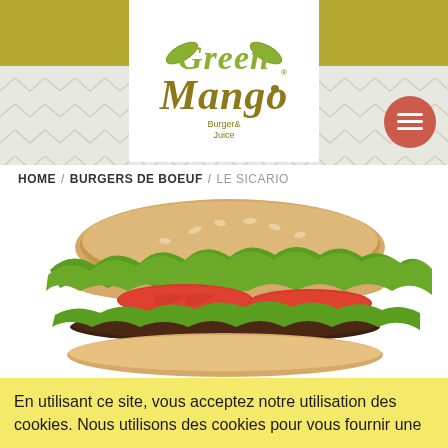[Figure (logo): Green Mango Burger & Juice logo with decorative olive/gold banner header and hexagon background pattern]
HOME / BURGERS DE BOEUF / LE SICARIO
[Figure (photo): Close-up photo of a burger (Le Sicario) with a seeded bun, green lettuce, red tomato slices, patty, and white cheese on a white background]
En utilisant ce site, vous acceptez notre utilisation des cookies. Nous utilisons des cookies pour vous fournir une